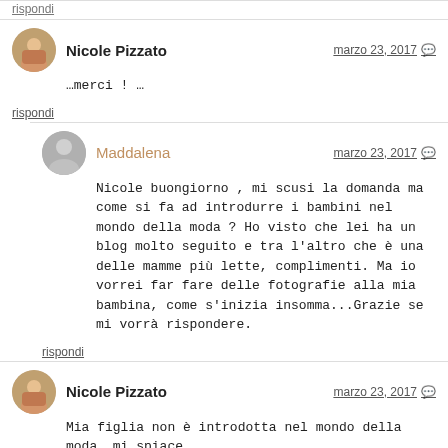rispondi
Nicole Pizzato
marzo 23, 2017
...merci ! ...
rispondi
Maddalena
marzo 23, 2017
Nicole buongiorno , mi scusi la domanda ma come si fa ad introdurre i bambini nel mondo della moda ? Ho visto che lei ha un blog molto seguito e tra l'altro che è una delle mamme più lette, complimenti. Ma io vorrei far fare delle fotografie alla mia bambina, come s'inizia insomma...Grazie se mi vorrà rispondere.
rispondi
Nicole Pizzato
marzo 23, 2017
Mia figlia non è introdotta nel mondo della moda... mi spiace...
rispondi
Grazia
aprile 3, 2017
La tua bimba è una modellina perfetta; ma come